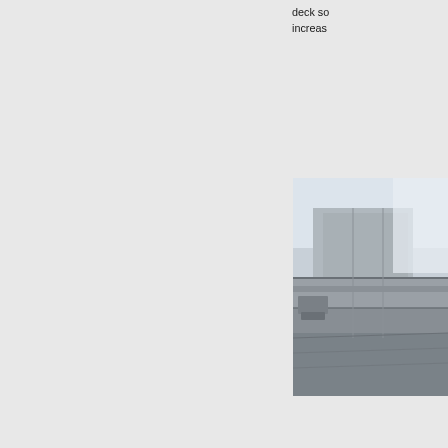deck so increas
[Figure (photo): Industrial or construction site photo showing concrete or metal deck structure]
Evorth Screen
Evortle machin plants s Turkey demolit machin